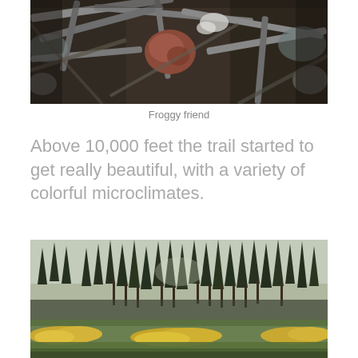[Figure (photo): Close-up macro photo of tangled twigs, branches, moss, and debris with a brownish-pink mushroom or fungus in the center, set against a dark background with lichen-covered wood]
Froggy friend
Above 10,000 feet the trail started to get really beautiful, with a variety of colorful microclimates.
[Figure (photo): Wide landscape photo of a forest meadow with tall conifer trees, green grass, and patches of bright yellow wildflowers in the foreground]